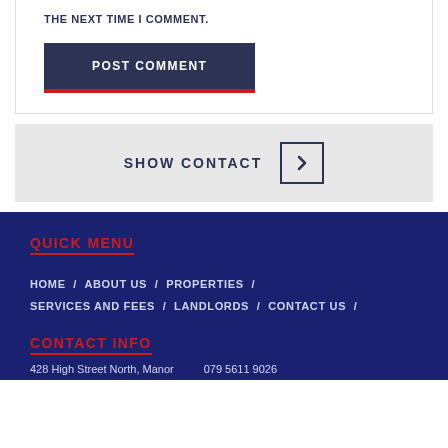THE NEXT TIME I COMMENT.
POST COMMENT
SHOW CONTACT
QUICK MENU
HOME / ABOUT US / PROPERTIES / SERVICES AND FEES / LANDLORDS / CONTACT US /
CONTACT INFO
428 High Street North, Manor      079 5611 9026